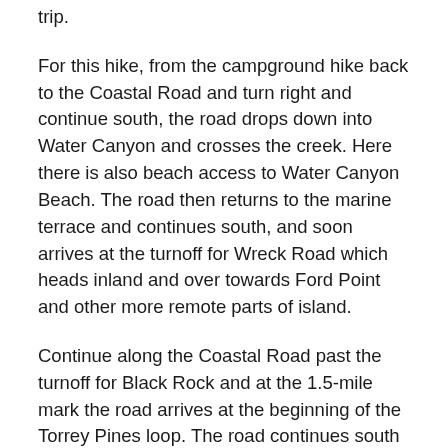trip.
For this hike, from the campground hike back to the Coastal Road and turn right and continue south, the road drops down into Water Canyon and crosses the creek. Here there is also beach access to Water Canyon Beach. The road then returns to the marine terrace and continues south, and soon arrives at the turnoff for Wreck Road which heads inland and over towards Ford Point and other more remote parts of island.
Continue along the Coastal Road past the turnoff for Black Rock and at the 1.5-mile mark the road arrives at the beginning of the Torrey Pines loop. The road continues south towards East Point while the Torrey Pines loop climbs up to the ridge and then back down rejoining the Coastal Road allowing one to wander directly through the